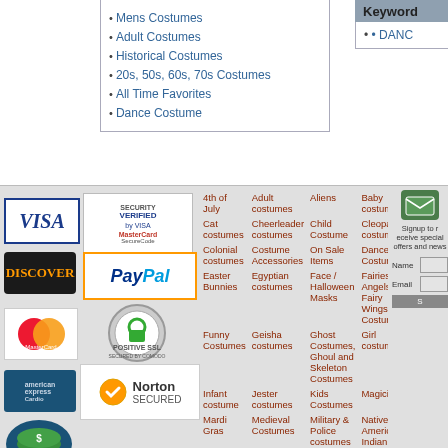Categories
Mens Costumes
Adult Costumes
Historical Costumes
20s, 50s, 60s, 70s Costumes
All Time Favorites
Dance Costume
Keyword
DANC
[Figure (logo): Visa credit card logo]
[Figure (logo): Verified by Visa / MasterCard SecureCode logo]
[Figure (logo): Discover card logo]
[Figure (logo): PayPal logo]
[Figure (logo): MasterCard logo]
[Figure (logo): Positive SSL secured logo]
[Figure (logo): American Express card logo]
[Figure (logo): Norton SECURED logo]
[Figure (logo): Money/coins icon]
| 4th of July | Adult costumes | Aliens | Baby costumes | Bride costumes |
| Cat costumes | Cheerleader costumes | Child Costume | Cleopatra costumes | Clown costumes |
| Colonial costumes | Costume Accessories | On Sale Items | Dance Costume | Disney costume |
| Easter Bunnies | Egyptian costumes | Face / Halloween Masks | Fairies Angels Fairy Wings Costume | Flapper costumes |
| Funny Costumes | Geisha costumes | Ghost Costumes, Ghoul and Skeleton Costumes | Girl costumes | Gothic / Scary costumes |
| Infant costume | Jester costumes | Kids Costumes | Magician | Make-up |
| Mardi Gras | Medieval Costumes | Military & Police costumes | Native American Indian Costume | Newborn Costumes |
| Nurse costumes | Party Costumes | Patriotic Costumes | Phantom costumes | Pilgrim costumes |
Signup to receive special offers and news
Name
Email